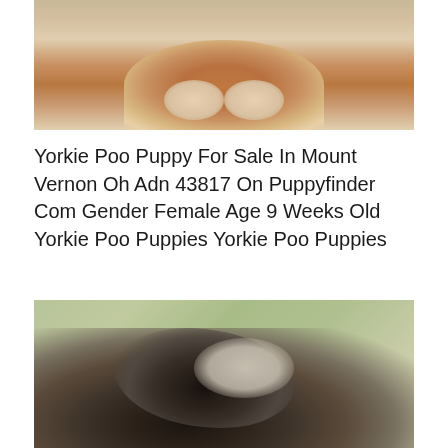[Figure (photo): Close-up photo of a Yorkie Poo puppy, fluffy tan and brown fur, showing the lower body and paws on a light surface]
Yorkie Poo Puppy For Sale In Mount Vernon Oh Adn 43817 On Puppyfinder Com Gender Female Age 9 Weeks Old Yorkie Poo Puppies Yorkie Poo Puppies
[Figure (photo): Photo of a dark-colored dog lying on its back on green grass, showing fluffy black and white fur]